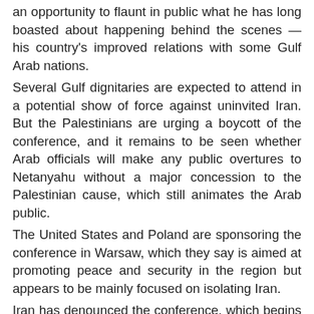an opportunity to flaunt in public what he has long boasted about happening behind the scenes — his country's improved relations with some Gulf Arab nations.
Several Gulf dignitaries are expected to attend in a potential show of force against uninvited Iran. But the Palestinians are urging a boycott of the conference, and it remains to be seen whether Arab officials will make any public overtures to Netanyahu without a major concession to the Palestinian cause, which still animates the Arab public.
The United States and Poland are sponsoring the conference in Warsaw, which they say is aimed at promoting peace and security in the region but appears to be mainly focused on isolating Iran.
Iran has denounced the conference, which begins Wednesday, as an American anti-Iran “circus.” Russia has said it will not attend, and the European Union’s foreign policy chief, Federica Mogherini, is also skipping the event.
For the Trump administration, it is a high-profile occasion to gather all its Middle East allies. For Poland, it offers a chance to strengthen ties with Washington as it seeks greater protection